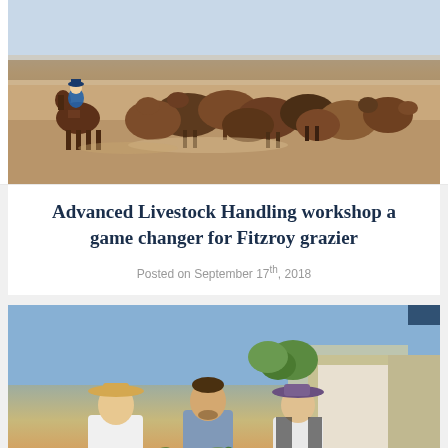[Figure (photo): A person on horseback herding a group of cattle in a dusty outdoor setting]
Advanced Livestock Handling workshop a game changer for Fitzroy grazier
Posted on September 17th, 2018
[Figure (photo): Three people standing outdoors holding a plant, with farm buildings and trees in the background]
Wamile: the bio control measure for weeds